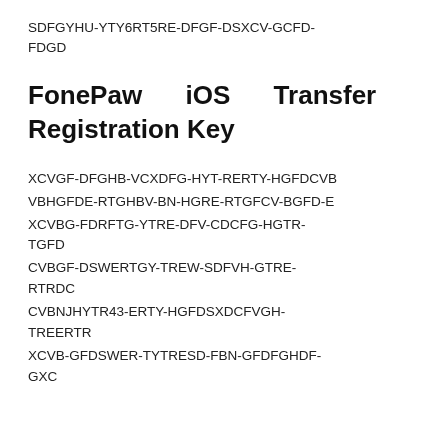SDFGYHU-YTY6RT5RE-DFGF-DSXCV-GCFD-FDGD
FonePaw iOS Transfer Registration Key
XCVGF-DFGHB-VCXDFG-HYT-RERTY-HGFDCVB
VBHGFDE-RTGHBV-BN-HGRE-RTGFCV-BGFD-E
XCVBG-FDRFTG-YTRE-DFV-CDCFG-HGTR-TGFD
CVBGF-DSWERTGY-TREW-SDFVH-GTRE-RTRDC
CVBNJHYTR43-ERTY-HGFDSXDCFVGH-TREERTR
XCVB-GFDSWER-TYTRESD-FBN-GFDFGHDF-GXC